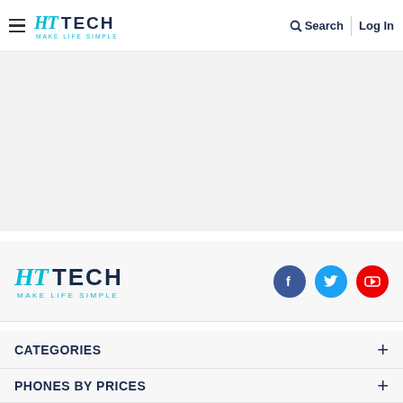HT TECH MAKE LIFE SIMPLE — Search | Log In
[Figure (other): Gray advertisement placeholder area]
[Figure (logo): HT Tech logo with tagline MAKE LIFE SIMPLE and social media icons for Facebook, Twitter, YouTube]
CATEGORIES +
PHONES BY PRICES +